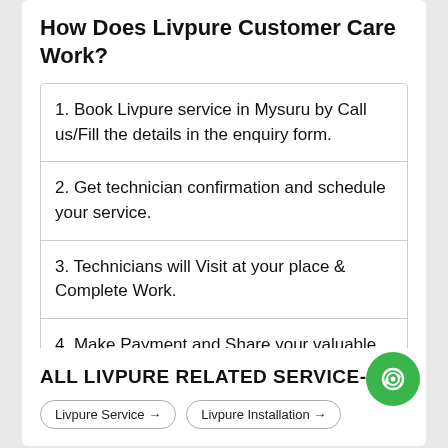How Does Livpure Customer Care Work?
1. Book Livpure service in Mysuru by Call us/Fill the details in the enquiry form.
2. Get technician confirmation and schedule your service.
3. Technicians will Visit at your place & Complete Work.
4. Make Payment and Share your valuable feedback.
ALL LIVPURE RELATED SERVICE-
Livpure Service → | Livpure Installation →